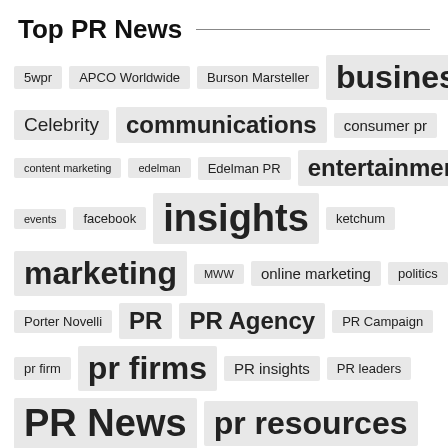Top PR News
[Figure (infographic): Tag cloud for Top PR News containing tags: 5wpr, APCO Worldwide, Burson Marsteller, business, Celebrity, communications, consumer pr, content marketing, edelman, Edelman PR, entertainment, events, facebook, insights, ketchum, marketing, MWW, online marketing, politics, Porter Novelli, PR, PR Agency, PR Campaign, pr firm, pr firms, PR insights, PR leaders, PR News, pr resources. Tags are sized by frequency/importance.]